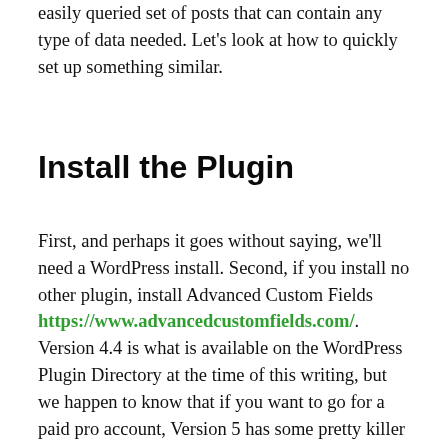easily queried set of posts that can contain any type of data needed. Let's look at how to quickly set up something similar.
Install the Plugin
First, and perhaps it goes without saying, we'll need a WordPress install. Second, if you install no other plugin, install Advanced Custom Fields https://www.advancedcustomfields.com/. Version 4.4 is what is available on the WordPress Plugin Directory at the time of this writing, but we happen to know that if you want to go for a paid pro account, Version 5 has some pretty killer features. For our purposes here, the free version